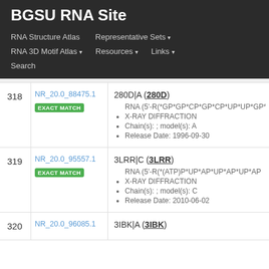BGSU RNA Site
RNA Structure Atlas   Representative Sets ▾   RNA 3D Motif Atlas ▾   Resources ▾   Links ▾   Search
| # | ID | Details |
| --- | --- | --- |
| 318 | NR_20.0_88475.1 EXACT MATCH | 280D|A (280D) • RNA (5'-R(*GP*GP*CP*GP*CP*UP*UP*GP*CP*GP... • X-RAY DIFFRACTION • Chain(s): ; model(s): A • Release Date: 1996-09-30 |
| 319 | NR_20.0_95557.1 EXACT MATCH | 3LRR|C (3LRR) • RNA (5'-R(*(ATP)P*UP*AP*UP*AP*UP*AP... • X-RAY DIFFRACTION • Chain(s): ; model(s): C • Release Date: 2010-06-02 |
| 320 | NR_20.0_96085.1 | 3IBK|A (3IBK) |